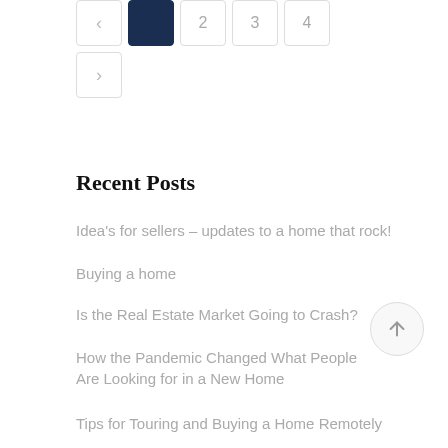[Figure (other): Pagination navigation with previous arrow, active page 1 (dark navy), pages 2, 3, 4, and next arrow]
Recent Posts
Idea's for sellers – updates to a home that rock!
Buying a home
Is the Real Estate Market Going to Crash?
How the Pandemic Changed What People Are Looking for in a New Home
Tips for Touring and Buying a Home Remotely